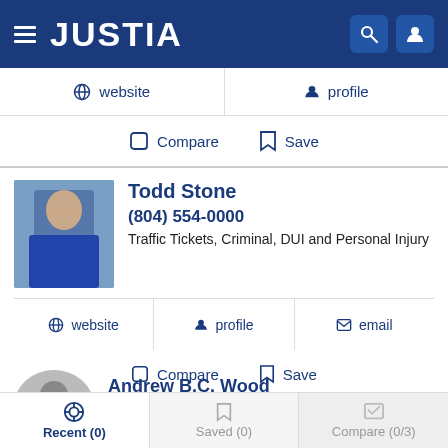JUSTIA
website | profile
Compare | Save
Todd Stone
(804) 554-0000
Traffic Tickets, Criminal, DUI and Personal Injury
website | profile | email
Compare | Save
Andrew B.C. Wood
(804) 285-7447 Free Consultation
Recent (0) | Saved (0) | Compare (0/3)